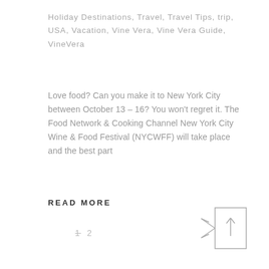Holiday Destinations, Travel, Travel Tips, trip, USA, Vacation, Vine Vera, Vine Vera Guide, VineVera
Love food? Can you make it to New York City between October 13 – 16? You won't regret it. The Food Network & Cooking Channel New York City Wine & Food Festival (NYCWFF) will take place and the best part
READ MORE
1  2